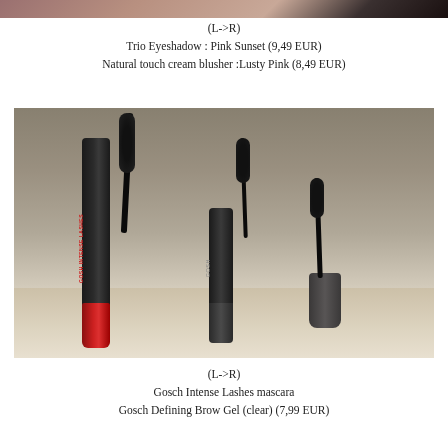[Figure (photo): Partial view of makeup products (top strip) - eyeshadow and blusher products]
(L->R)
Trio Eyeshadow : Pink Sunset (9,49 EUR)
Natural touch cream blusher :Lusty Pink (8,49 EUR)
[Figure (photo): Two GOSH mascara products on a white surface: GOSH Intense Lashes mascara (left, black tube with red applicator) and GOSH Defining Brow Gel in clear (right, dark grey tube with cap removed showing wand)]
(L->R)
Gosch Intense Lashes mascara
Gosch Defining Brow Gel (clear) (7,99 EUR)